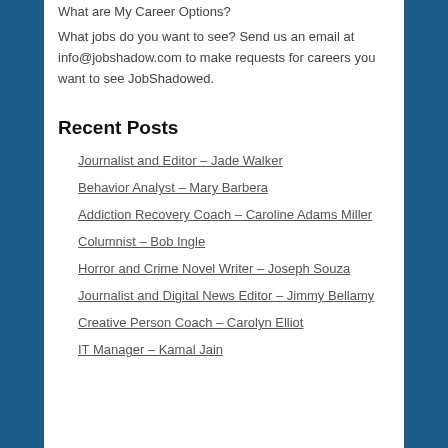What are My Career Options?
What jobs do you want to see? Send us an email at info@jobshadow.com to make requests for careers you want to see JobShadowed.
Recent Posts
Journalist and Editor – Jade Walker
Behavior Analyst – Mary Barbera
Addiction Recovery Coach – Caroline Adams Miller
Columnist – Bob Ingle
Horror and Crime Novel Writer – Joseph Souza
Journalist and Digital News Editor – Jimmy Bellamy
Creative Person Coach – Carolyn Elliot
IT Manager – Kamal Jain